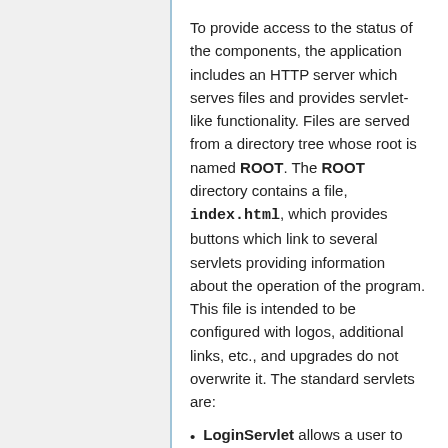To provide access to the status of the components, the application includes an HTTP server which serves files and provides servlet-like functionality. Files are served from a directory tree whose root is named ROOT. The ROOT directory contains a file, index.html, which provides buttons which link to several servlets providing information about the operation of the program. This file is intended to be configured with logos, additional links, etc., and upgrades do not overwrite it. The standard servlets are:
LoginServlet allows a user to log into the system.
UserManagerServlet allows an admin user to create users and assign them privileges.